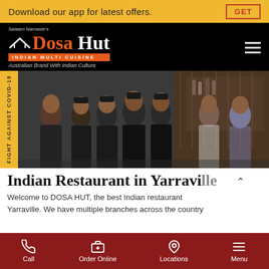Download our app for latest offers.
GET
Dosa Hut Indian Multi Cuisine – Australian Brand With Indian Culture
[Figure (photo): Group photo of Dosa Hut restaurant staff in black uniforms with caps, posed together inside the restaurant]
FIGHT AGAINST COVID-19
Indian Restaurant in Yarraville
Welcome to DOSA HUT, the best Indian restaurant
Yarraville. We have multiple branches across the country
Call  Order Online  Locations  Menu